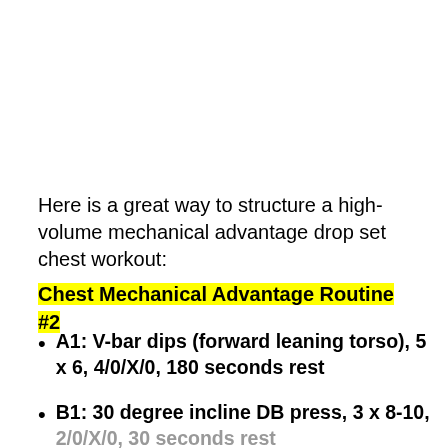Here is a great way to structure a high-volume mechanical advantage drop set chest workout:
Chest Mechanical Advantage Routine #2
A1: V-bar dips (forward leaning torso), 5 x 6, 4/0/X/0, 180 seconds rest
B1: 30 degree incline DB press, 3 x 8-10, 2/0/X/0, 30 seconds rest
B2: 15 degree incline DB press, 3 x AMRAP**